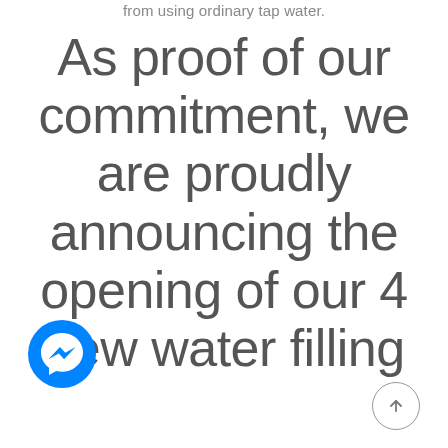from using ordinary tap water.
As proof of our commitment, we are proudly announcing the opening of our 4 new water filling
[Figure (logo): Facebook Messenger logo — blue circle with white lightning bolt chat bubble icon]
[Figure (other): Scroll-to-top button — circular outlined button with upward arrow]